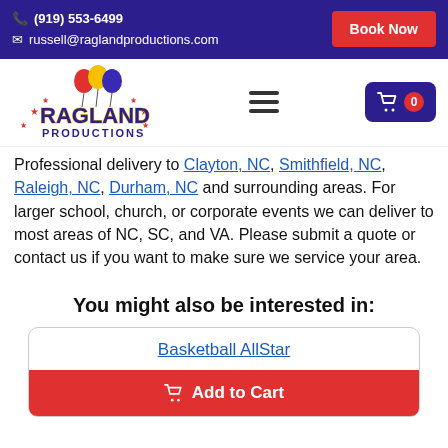(919) 553-6499 | russell@raglandproductions.com | Book Now
[Figure (logo): Ragland Productions logo with colorful balloons and stars]
Professional delivery to Clayton, NC, Smithfield, NC, Raleigh, NC, Durham, NC and surrounding areas. For larger school, church, or corporate events we can deliver to most areas of NC, SC, and VA. Please submit a quote or contact us if you want to make sure we service your area.
You might also be interested in:
Basketball AllStar
Add to Cart